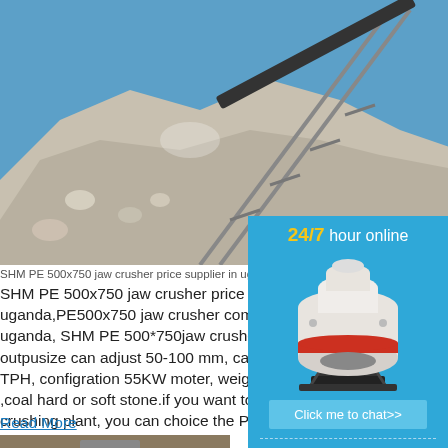[Figure (photo): Conveyor belt carrying white crushed stone/aggregate up a steep incline against a blue sky]
SHM PE 500x750 jaw crusher price supplier in uganda,SHM ...
SHM PE 500x750 jaw crusher price suppplier in ugandа,PE500x750 jaw crusher comapny sale price in ugandа, SHM PE 500*750jaw crusher Max outpusize can adjust 50-100 mm, capacity TPH, configration 55KW moter, weight 12T, ,coal hard or soft stone.if you want to strat a crushing plant, you can choice the PE 500x ...
Read More
[Figure (photo): Industrial crushing/mining equipment at a quarry or mining site]
[Figure (infographic): Blue sidebar popup: 24/7 hour online with cone crusher machine image, Click me to chat>> button, Enquiry section, limingjlmofen text]